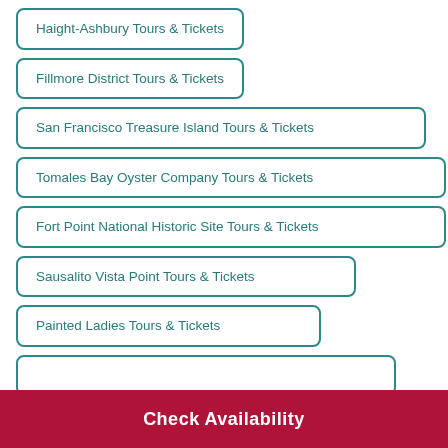Haight-Ashbury Tours & Tickets
Fillmore District Tours & Tickets
San Francisco Treasure Island Tours & Tickets
Tomales Bay Oyster Company Tours & Tickets
Fort Point National Historic Site Tours & Tickets
Sausalito Vista Point Tours & Tickets
Painted Ladies Tours & Tickets
(partial)
Check Availability